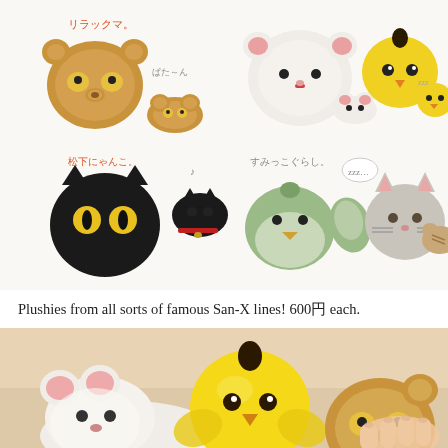[Figure (photo): Product illustration showing San-X plushies in two rows: Row 1 shows Rilakkuma bear plushies and yellow chick (Kiiroitori) plushies with Japanese labels. Row 2 shows black cat (Kumaneko), Sumikko Gurashi green character, and gray cat plushies with Japanese labels.]
Plushies from all sorts of famous San-X lines! 600¥ each.
[Figure (photo): Close-up photo of hands holding San-X plushies including a yellow chick (Kiiroitori), a white Korilakkuma, and a brown Rilakkuma bear plushie against a warm beige background.]